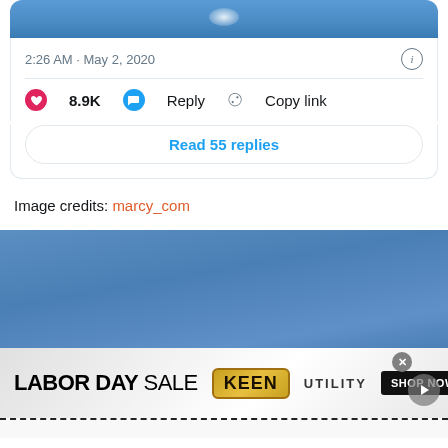[Figure (screenshot): Top portion of a social media (Twitter) card showing a blue sky image cropped at top]
2:26 AM · May 2, 2020
❤ 8.9K   Reply   Copy link
Read 55 replies
Image credits: marcy_com
[Figure (photo): Blue sky background section]
[Figure (infographic): Advertisement banner: LABOR DAY SALE KEEN UTILITY SHOP NOW]